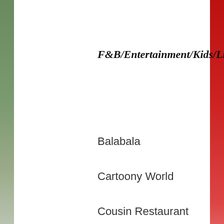F&B/Entertainment/Kids/Lifestyle
Balabala
Cartoony World
Cousin Restaurant
GYMBOREE (partially visible)
EPRRetailNews.com uses cookies on its website to give you the most relevant experience by remembering your preferences and repeat visits. By clicking “Accept”, you consent to the use of ALL the cookies.
Cookie settings
ACCEPT